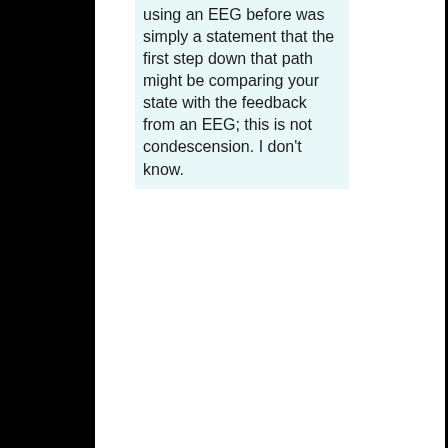using an EEG before was simply a statement that the first step down that path might be comparing your state with the feedback from an EEG; this is not condescension. I don't know.
That's cool and I do believe you. As they say in sunny Brazil, "nao problema".  I am glad you took the time to share your well-crafted, intelligent